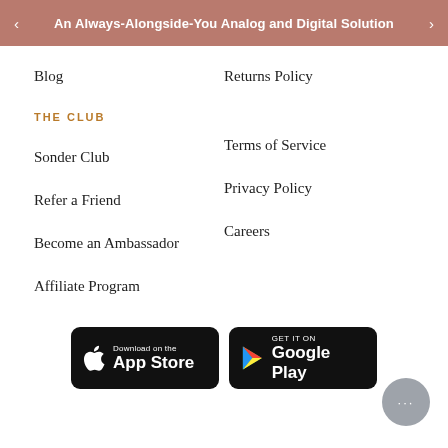An Always-Alongside-You Analog and Digital Solution
Blog
THE CLUB
Sonder Club
Refer a Friend
Become an Ambassador
Affiliate Program
Returns Policy
Terms of Service
Privacy Policy
Careers
[Figure (other): Download on the App Store button]
[Figure (other): Get it on Google Play button]